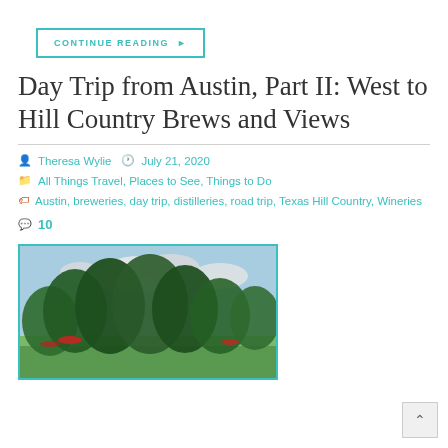CONTINUE READING ▶
Day Trip from Austin, Part II: West to Hill Country Brews and Views
Theresa Wylie   July 21, 2020
All Things Travel, Places to See, Things to Do
Austin, breweries, day trip, distilleries, road trip, Texas Hill Country, Wineries
10
[Figure (photo): Outdoor scene with large oak trees, picnic area with red umbrellas, partly cloudy sky — likely a Texas Hill Country brewery or winery patio]